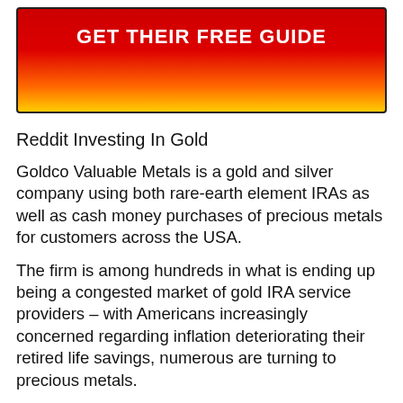[Figure (other): Red to yellow gradient banner with bold white text reading GET THEIR FREE GUIDE]
Reddit Investing In Gold
Goldco Valuable Metals is a gold and silver company using both rare-earth element IRAs as well as cash money purchases of precious metals for customers across the USA.
The firm is among hundreds in what is ending up being a congested market of gold IRA service providers – with Americans increasingly concerned regarding inflation deteriorating their retired life savings, numerous are turning to precious metals.